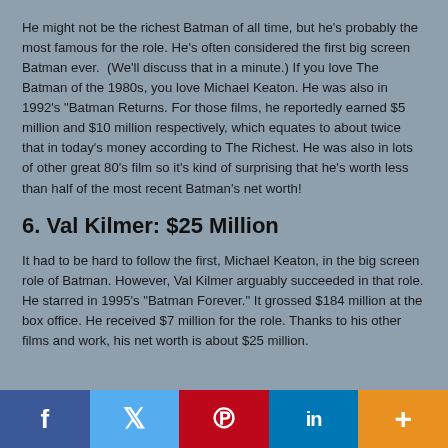He might not be the richest Batman of all time, but he's probably the most famous for the role. He's often considered the first big screen Batman ever. (We'll discuss that in a minute.) If you love The Batman of the 1980s, you love Michael Keaton. He was also in 1992's "Batman Returns. For those films, he reportedly earned $5 million and $10 million respectively, which equates to about twice that in today's money according to The Richest. He was also in lots of other great 80's film so it's kind of surprising that he's worth less than half of the most recent Batman's net worth!
6. Val Kilmer: $25 Million
It had to be hard to follow the first, Michael Keaton, in the big screen role of Batman. However, Val Kilmer arguably succeeded in that role. He starred in 1995's "Batman Forever." It grossed $184 million at the box office. He received $7 million for the role. Thanks to his other films and work, his net worth is about $25 million.
Social share bar: Facebook, Twitter, Pinterest, LinkedIn, More